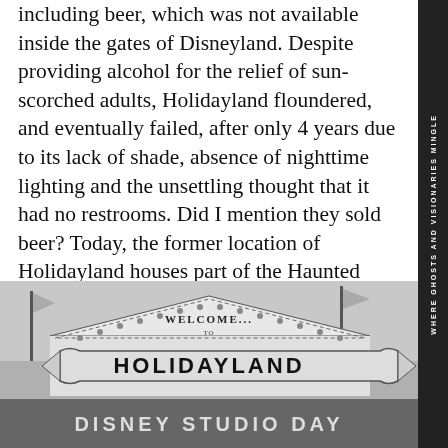including beer, which was not available inside the gates of Disneyland. Despite providing alcohol for the relief of sun-scorched adults, Holidayland floundered, and eventually failed, after only 4 years due to its lack of shade, absence of nighttime lighting and the unsettling thought that it had no restrooms. Did I mention they sold beer? Today, the former location of Holidayland houses part of the Haunted Mansion and Pirates of the Caribbean rides. But back then, when the picnickers left, the feral cats were now left to meander new regions of the Magic Kingdom.
[Figure (photo): Black and white photograph of the Holidayland entrance sign reading 'WELCOME TO HOLIDAYLAND' with 'DISNEY STUDIO DAY' visible at the bottom. Flags are visible in the background.]